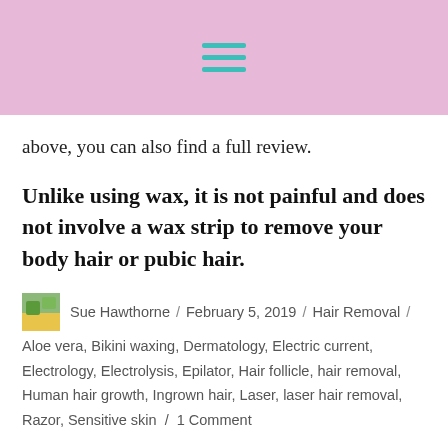[Figure (other): Pink header bar with teal hamburger menu icon (three horizontal lines)]
above, you can also find a full review.
Unlike using wax, it is not painful and does not involve a wax strip to remove your body hair or pubic hair.
Sue Hawthorne / February 5, 2019 / Hair Removal / Aloe vera, Bikini waxing, Dermatology, Electric current, Electrology, Electrolysis, Epilator, Hair follicle, hair removal, Human hair growth, Ingrown hair, Laser, laser hair removal, Razor, Sensitive skin / 1 Comment
MOST VIEWED POSTS